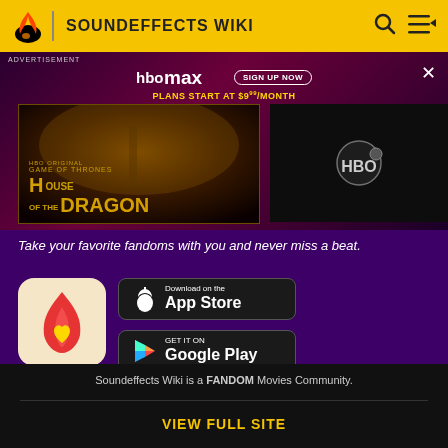SOUNDEFFECTS WIKI
[Figure (screenshot): HBO Max advertisement with House of the Dragon promotional image and HBO logo on dark panel]
ADVERTISEMENT
Take your favorite fandoms with you and never miss a beat.
[Figure (logo): Fandom app icon - flame with heart logo on beige background]
[Figure (logo): Download on the App Store button]
[Figure (logo): GET IT ON Google Play button]
Soundeffects Wiki is a FANDOM Movies Community.
VIEW FULL SITE